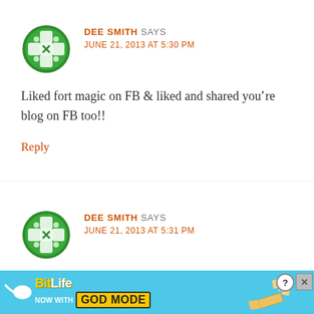[Figure (illustration): Green decorative avatar icon with cross/star pattern]
DEE SMITH SAYS
JUNE 21, 2013 AT 5:30 PM
Liked fort magic on FB & liked and shared you're blog on FB too!!
Reply
[Figure (illustration): Green decorative avatar icon with cross/star pattern]
DEE SMITH SAYS
JUNE 21, 2013 AT 5:31 PM
Liked [partially visible text] ...g on
[Figure (screenshot): BitLife advertisement banner - NOW WITH GOD MODE]